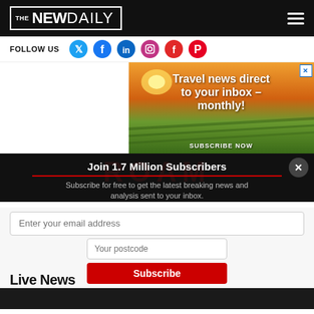THE NEW DAILY
FOLLOW US
[Figure (screenshot): Advertisement banner: Travel news direct to your inbox – monthly! SUBSCRIBE NOW, with sunset over vineyard background]
Join 1.7 Million Subscribers
Subscribe for free to get the latest breaking news and analysis sent to your inbox.
Enter your email address
Your postcode
Subscribe